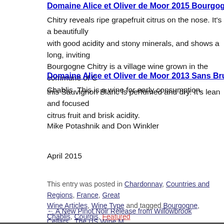Domaine Alice et Oliver de Moor 2015 Bourgogne Chitry …
Chitry reveals ripe grapefruit citrus on the nose. It's a beautifully with good acidity and stony minerals, and shows a long, inviting Bourgogne Chitry is a village wine grown in the commune of Chablis. This is a wine for early consumption.
Domaine Alice et Oliver de Moor 2013 Sans Bruit Saint Bris…
this Sauvignon Blanc is perfumed and dry. It's lean and focused citrus fruit and brisk acidity.
Mike Potashnik and Don Winkler
April 2015
This entry was posted in Chardonnay, Countries and Regions, France, Great … Wine Articles, Wine Type and tagged Bourgogne, Chablis, Courgis, Featured …
← A New Pinot Noir Release from Willowbrook Cellars   The US Wine M…